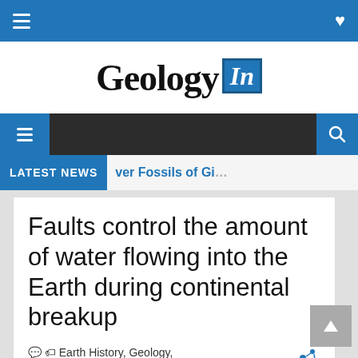Geology In - navigation bar
[Figure (logo): Geology In logo with bold serif text and blue box with italic n]
Search bar with hamburger menu and search icon
LATEST NEWS   over Fossils of Gi…
Faults control the amount of water flowing into the Earth during continental breakup
💬 🏷 Earth History, Geology, Tectonic  📅 2:27 PM